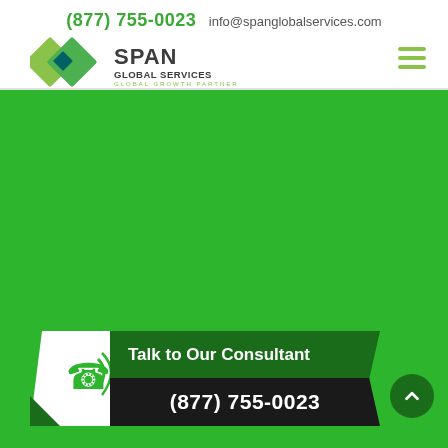(877) 755-0023  info@spanglobalservices.com
[Figure (logo): Span Global Services logo with green diamond shapes and text 'SPAN GLOBAL SERVICES GLOBAL GROWTH PARTNER']
[Figure (infographic): Green background section with Call-to-Action banner at bottom: 'Talk to Our Consultant' and phone number '(877) 755-0023' with phone icon and scroll-up button]